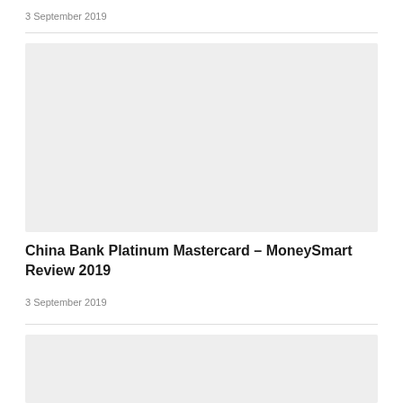3 September 2019
[Figure (photo): Light gray placeholder image for article thumbnail]
China Bank Platinum Mastercard – MoneySmart Review 2019
3 September 2019
[Figure (photo): Light gray placeholder image for second article thumbnail]